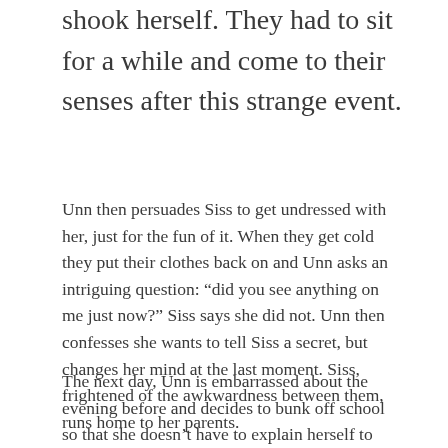shook herself. They had to sit for a while and come to their senses after this strange event.
Unn then persuades Siss to get undressed with her, just for the fun of it. When they get cold they put their clothes back on and Unn asks an intriguing question: “did you see anything on me just now?” Siss says she did not. Unn then confesses she wants to tell Siss a secret, but changes her mind at the last moment. Siss, frightened of the awkwardness between them, runs home to her parents.
The next day, Unn is embarrassed about the evening before and decides to bunk off school so that she doesn’t have to explain herself to Siss. She heads off on a day-long excursion to explore the ice palace, a frozen waterfall, which she has